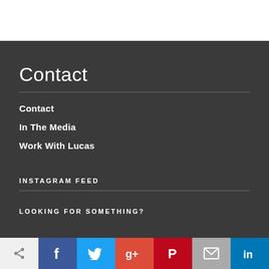Contact
Contact
In The Media
Work With Lucas
INSTAGRAM FEED
LOOKING FOR SOMETHING?
[Figure (other): Social media share buttons bar: white (share icon), Facebook (f), Twitter (bird), Google+ (g+), Pinterest (P), Email (envelope), LinkedIn (in)]